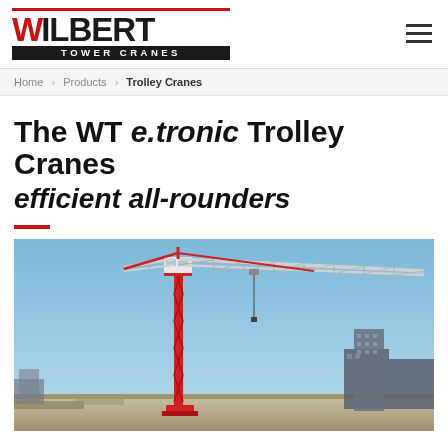Wilbert Tower Cranes
Home > Products > Trolley Cranes
The WT e.tronic Trolley Cranes efficient all-rounders
[Figure (photo): A red and white tower crane (trolley crane) on a construction site under a blue sky, with buildings in the background.]